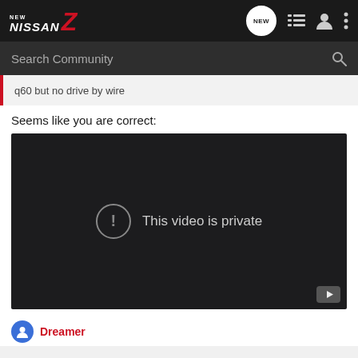NEW NISSAN Z — Community
Search Community
q60 but no drive by wire
Seems like you are correct:
[Figure (screenshot): Embedded YouTube video player showing 'This video is private' message with exclamation icon and YouTube logo in bottom right corner, on dark background.]
Dreamer